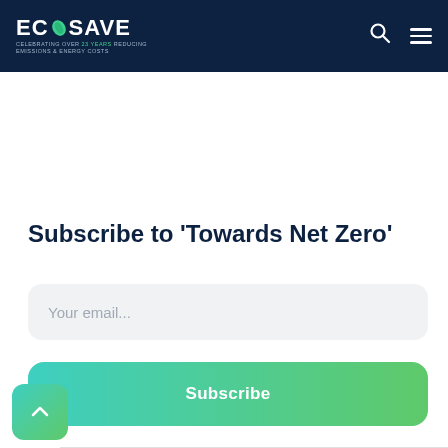ECOSAVE — CELEBRATING OVER 23 YEARS REDUCING EMISSIONS & ENERGY COSTS
Subscribe to 'Towards Net Zero'
Your email...
Subscribe